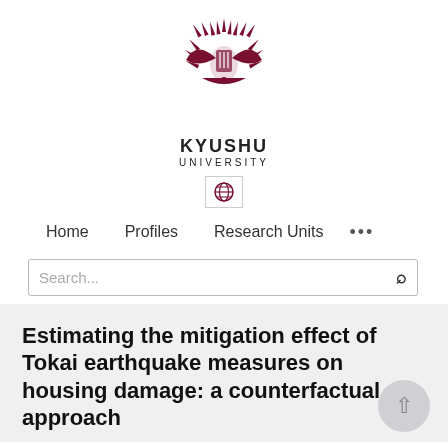[Figure (logo): Kyushu University logo: a stylized phoenix/sun burst in dark maroon with a crest in the center]
KYUSHU
UNIVERSITY
[Figure (other): Globe icon inside a bordered box]
Home   Profiles   Research Units   ...
Search...
Estimating the mitigation effect of Tokai earthquake measures on housing damage: a counterfactual approach